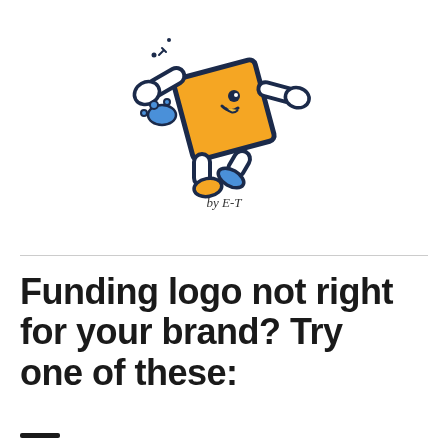[Figure (illustration): Cartoon character mascot: an animated golden/yellow square-shaped figure with arms, legs, a smiling face and a small blue element, drawn in a retro comic style, running or posing dynamically. The character has bold dark outlines against a white background.]
by E-T
Funding logo not right for your brand? Try one of these: